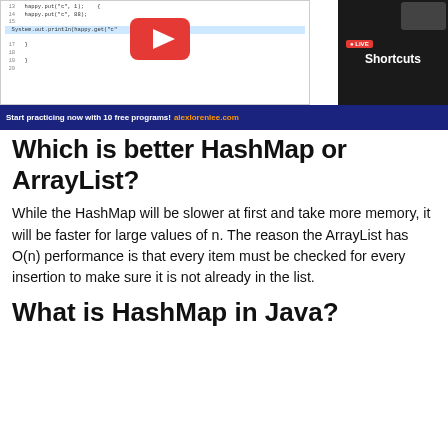[Figure (screenshot): Screenshot of a Java IDE showing HashMap code with a YouTube play button overlay, a 'Shortcuts' panel on the right with a dark background, and a blue bottom bar reading 'Start practicing now with 10 free programs! alexlorenlee.com']
Which is better HashMap or ArrayList?
While the HashMap will be slower at first and take more memory, it will be faster for large values of n. The reason the ArrayList has O(n) performance is that every item must be checked for every insertion to make sure it is not already in the list.
What is HashMap in Java?